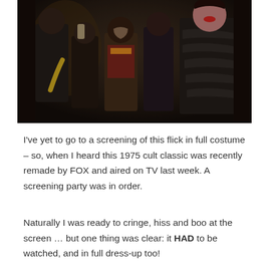[Figure (photo): Group of people in costumes posing at what appears to be an indoor party or bar setting. Dark background with several individuals dressed up, including someone in a zebra-print outfit on the right and others in various costumes.]
I've yet to go to a screening of this flick in full costume – so, when I heard this 1975 cult classic was recently remade by FOX and aired on TV last week. A screening party was in order.
Naturally I was ready to cringe, hiss and boo at the screen … but one thing was clear: it HAD to be watched, and in full dress-up too!